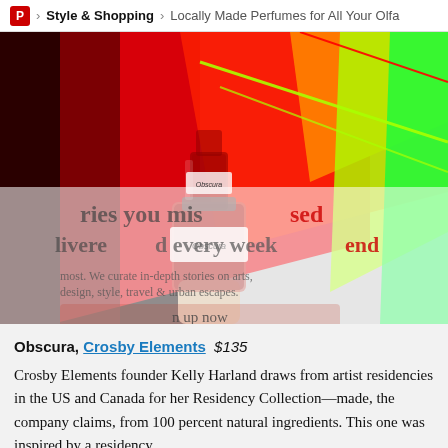P > Style & Shopping > Locally Made Perfumes for All Your Olfa
[Figure (photo): Close-up photograph of a perfume bottle labeled 'Obscura' with colorful neon red, orange, yellow and green geometric acrylic panels in the background. A newsletter signup overlay is partially visible over the image with text about stories delivered every weekend.]
Obscura, Crosby Elements $135
Crosby Elements founder Kelly Harland draws from artist residencies in the US and Canada for her Residency Collection—made, the company claims, from 100 percent natural ingredients. This one was inspired by a residency